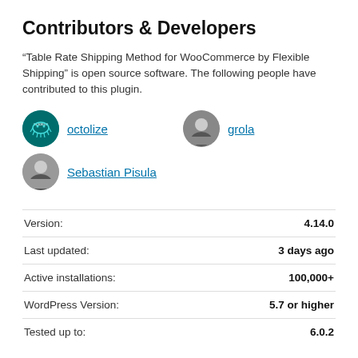Contributors & Developers
“Table Rate Shipping Method for WooCommerce by Flexible Shipping” is open source software. The following people have contributed to this plugin.
octolize
grola
Sebastian Pisula
|  |  |
| --- | --- |
| Version: | 4.14.0 |
| Last updated: | 3 days ago |
| Active installations: | 100,000+ |
| WordPress Version: | 5.7 or higher |
| Tested up to: | 6.0.2 |